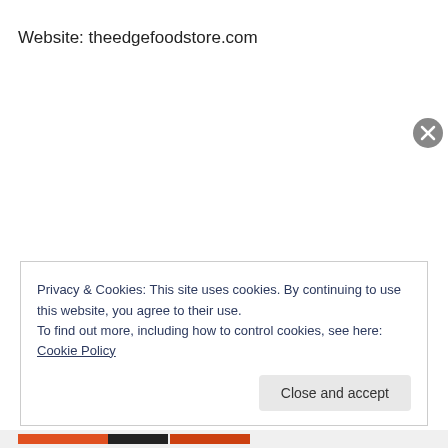Website: theedgefoodstore.com
Privacy & Cookies: This site uses cookies. By continuing to use this website, you agree to their use.
To find out more, including how to control cookies, see here: Cookie Policy
Close and accept